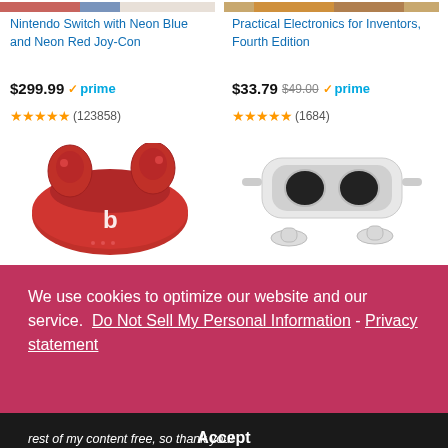[Figure (photo): Partial top image of Nintendo Switch product — red and blue graphic visible at top left]
[Figure (photo): Partial top image of Practical Electronics for Inventors book — cover texture visible at top right]
Nintendo Switch with Neon Blue and Neon Red Joy-Con
Practical Electronics for Inventors, Fourth Edition
$299.99 ✓prime
$33.79 $49.00 ✓prime
★★★★★ (123858)
★★★★★ (1684)
[Figure (photo): Beats Studio Buds red wireless earbuds in charging case]
[Figure (photo): Oculus Quest 2 VR headset with controllers in white/grey]
We use cookies to optimize our website and our service.  Do Not Sell My Personal Information - Privacy statement
Accept
rest of my content free, so thank you!